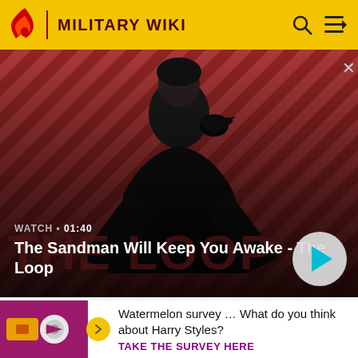MILITARY WIKI
[Figure (screenshot): Video thumbnail for 'The Sandman Will Keep You Awake - The Loop' with a gothic figure against red diagonal striped background. Shows WATCH • 01:40 label and a teal play button.]
exiting. Omega forms a series of spaced cones drawing gas away from the boreline, incorporates a scalloped mout... direc... stack...
[Figure (infographic): Advertisement banner: Watermelon survey thumbnail with text 'Watermelon survey … What do you think about Harry Styles?' and CTA 'TAKE THE SURVEY HERE']